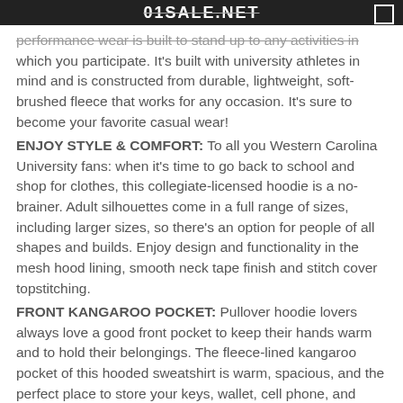01SALE.NET
performance wear is built to stand up to any activities in which you participate. It's built with university athletes in mind and is constructed from durable, lightweight, soft-brushed fleece that works for any occasion. It's sure to become your favorite casual wear!
ENJOY STYLE & COMFORT: To all you Western Carolina University fans: when it's time to go back to school and shop for clothes, this collegiate-licensed hoodie is a no-brainer. Adult silhouettes come in a full range of sizes, including larger sizes, so there's an option for people of all shapes and builds. Enjoy design and functionality in the mesh hood lining, smooth neck tape finish and stitch cover topstitching.
FRONT KANGAROO POCKET: Pullover hoodie lovers always love a good front pocket to keep their hands warm and to hold their belongings. The fleece-lined kangaroo pocket of this hooded sweatshirt is warm, spacious, and the perfect place to store your keys, wallet, cell phone, and more,